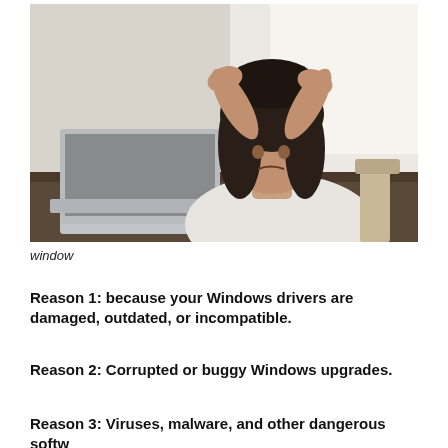[Figure (photo): A frustrated woman sitting at a desk with a laptop, holding her head in her hands, with a bright window behind her.]
window
Reason 1: because your Windows drivers are damaged, outdated, or incompatible.
Reason 2: Corrupted or buggy Windows upgrades.
Reason 3: Viruses, malware, and other dangerous software...